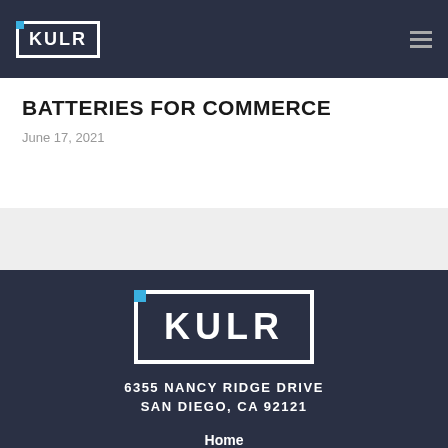KULR
BATTERIES FOR COMMERCE
June 17, 2021
[Figure (logo): KULR logo with white border and blue accent square, on dark navy background]
6355 NANCY RIDGE DRIVE
SAN DIEGO, CA 92121
Home
Mission
Technology